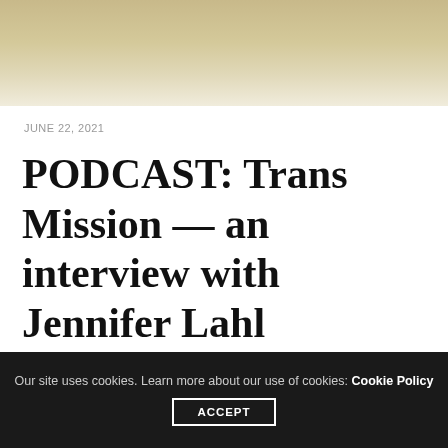[Figure (photo): Hero image with a blurred, warm-toned background fading from tan/gold at top to light cream at bottom.]
JUNE 22, 2021
PODCAST: Trans Mission — an interview with Jennifer Lahl
The transitioning of kids is ever more common these days, despite growing concerns about physical, mental, and social impacts of encouraging youth to identify as the opposite sex. A new documentary film,…
Our site uses cookies. Learn more about our use of cookies: Cookie Policy ACCEPT